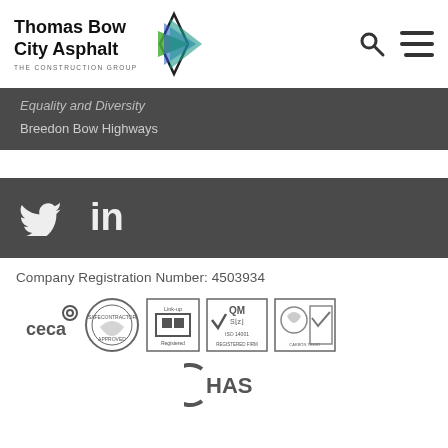[Figure (logo): Thomas Bow City Asphalt - The Construction Group logo with green/blue arrow graphic, search icon, and hamburger menu icon in header]
Equality and Diversity
Breedon Bow Highways
[Figure (logo): Twitter and LinkedIn social media icons in dark band]
Company Registration Number: 4503934
[Figure (logo): Certification badges: ceca, Safe Contractor Approved, Link-up Registered, QM SIZ ISO 14001 Registered Firm, UKAS accreditation, CHAS]